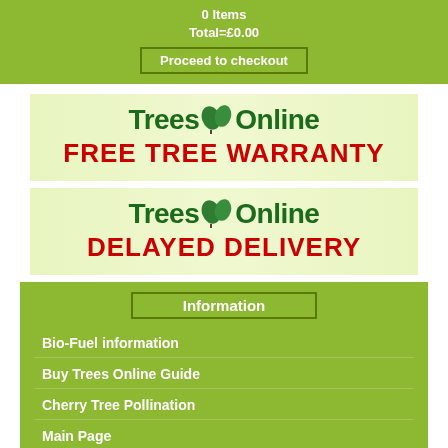0 Items
Total=£0.00
Proceed to checkout
[Figure (logo): Trees Online FREE TREE WARRANTY banner with logo and green oak leaf icons]
[Figure (logo): Trees Online DELAYED DELIVERY banner with logo and green oak leaf icons]
Information
Bio-Fuel information
Buy Trees Online Guide
Cherry Tree Pollination
Main Page